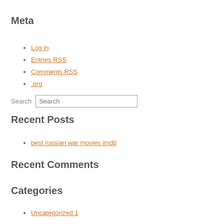Meta
Log in
Entries RSS
Comments RSS
.org
Search
Recent Posts
best russian war movies imdb
Recent Comments
Categories
Uncategorized 1